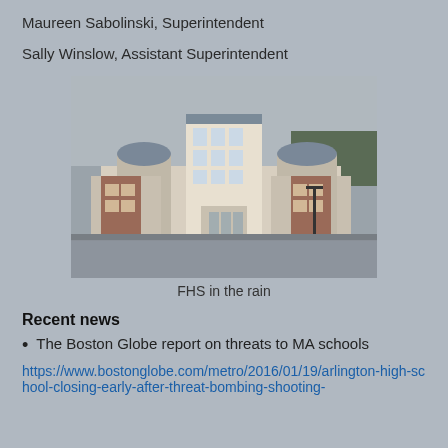Maureen Sabolinski, Superintendent
Sally Winslow, Assistant Superintendent
[Figure (photo): Photograph of Franklin High School (FHS) exterior in the rain, showing a large modern brick and white building with multiple domed towers and large windows, with a wet parking lot in the foreground.]
FHS in the rain
Recent news
The Boston Globe report on threats to MA schools
https://www.bostonglobe.com/metro/2016/01/19/arlington-high-school-closing-early-after-threat-bombing-shooting-